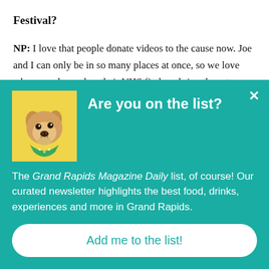Festival?
NP: I love that people donate videos to the cause now. Joe and I can only be in so many places at once, so we love when people send us their VHS finds or bring them to shows. Earlier this year, we got a box in the mail filled with 17 different police instructional videos. No note or explanation
[Figure (other): Popup overlay with teal background showing a dog wearing a bandana on a yellow background, with title 'Are you on the list?' and newsletter signup text and button]
Are you on the list?
The Grand Rapids Magazine Daily list, of course! Our curated newsletter highlights the best food, drinks, experiences and more in Grand Rapids.
Add me to the list!